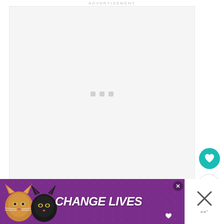ADVERTISEMENT
[Figure (other): Empty advertisement loading placeholder box with three gray loading dots in the center]
[Figure (other): Teal circular FAB button with a white heart icon]
[Figure (other): White circular FAB button with a share/add icon]
[Figure (other): Banner advertisement with purple background showing two cats (tabby and black) and text CHANGE LIVES with a close button and heart icon]
[Figure (other): Close/dismiss panel with large X icon and wordmark logo]